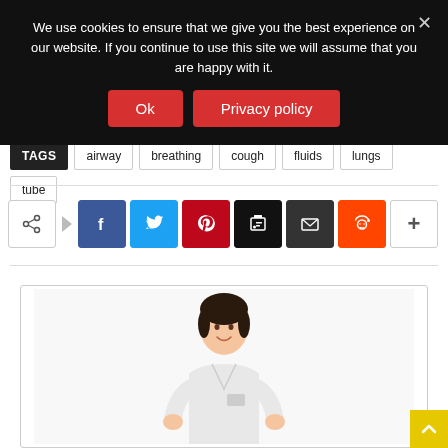We use cookies to ensure that we give you the best experience on our website. If you continue to use this site we will assume that you are happy with it.
Ok
Privacy policy
TAGS   airway   breathing   cough   fluids   lungs   tube
[Figure (screenshot): Social share buttons: share icon, Facebook, Twitter, Pinterest, Print, Email, Reddit, plus more]
[Figure (photo): Photo of a young Asian female nurse or healthcare worker in a white uniform, smiling, shown from the waist up against a white background]